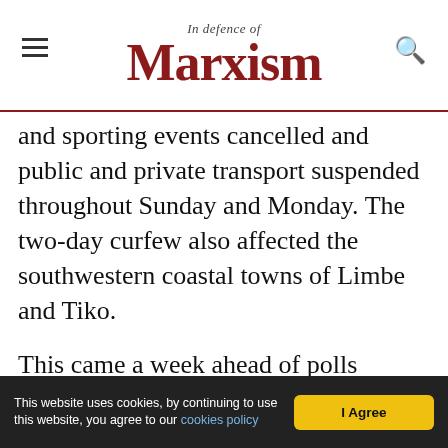In Defence of Marxism
and sporting events cancelled and public and private transport suspended throughout Sunday and Monday. The two-day curfew also affected the southwestern coastal towns of Limbe and Tiko.
This came a week ahead of polls opening for Cameroon's presidential elections on 7 October, a vote that anglophone secessionists vowed to disrupt. 85-year-old, Francophone incumbent Paul Biya is seeking a seventh term, having already been in power since 1982, amidst rampant corruption and brutal repression of the anglophone minority (which
This website uses cookies, by continuing to use this website, you agree to our cookies policy | I Agree